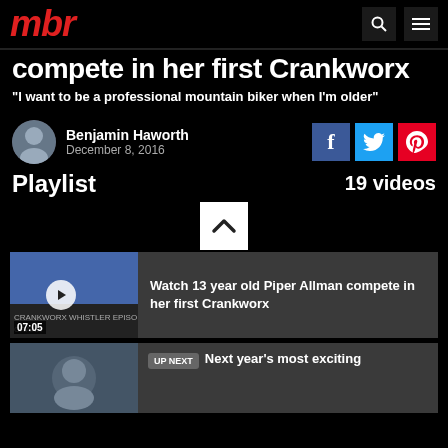mbr
compete in her first Crankworx
"I want to be a professional mountain biker when I'm older"
Benjamin Haworth
December 8, 2016
Playlist   19 videos
[Figure (screenshot): Scroll up button (chevron/arrow pointing up) on white square background]
[Figure (screenshot): Video thumbnail showing Crankworx Whistler episode, 07:05 duration, with play button overlay]
Watch 13 year old Piper Allman compete in her first Crankworx
[Figure (photo): Video thumbnail of second playlist item]
UP NEXT  Next year's most exciting